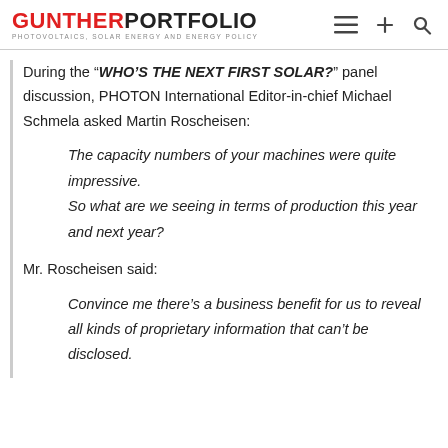GUNTHERPORTFOLIO PHOTOVOLTAICS, SOLAR ENERGY AND ENERGY POLICY
During the “WHO’S THE NEXT FIRST SOLAR?” panel discussion, PHOTON International Editor-in-chief Michael Schmela asked Martin Roscheisen:
The capacity numbers of your machines were quite impressive.
So what are we seeing in terms of production this year and next year?
Mr. Roscheisen said:
Convince me there’s a business benefit for us to reveal all kinds of proprietary information that can’t be disclosed.